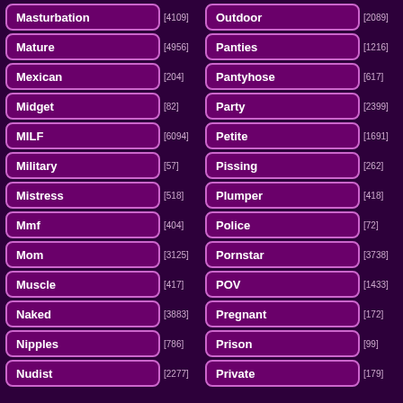Masturbation [4109]
Mature [4956]
Mexican [204]
Midget [82]
MILF [6094]
Military [57]
Mistress [518]
Mmf [404]
Mom [3125]
Muscle [417]
Naked [3883]
Nipples [786]
Nudist [2277]
Outdoor [2089]
Panties [1216]
Pantyhose [617]
Party [2399]
Petite [1691]
Pissing [262]
Plumper [418]
Police [72]
Pornstar [3738]
POV [1433]
Pregnant [172]
Prison [99]
Private [179]